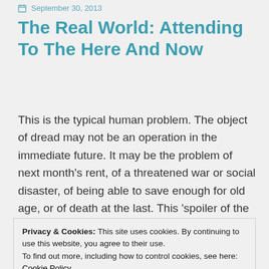September 30, 2013
The Real World: Attending To The Here And Now
This is the typical human problem. The object of dread may not be an operation in the immediate future. It may be the problem of next month's rent, of a threatened war or social disaster, of being able to save enough for old age, or of death at the last. This 'spoiler of the present' may not even be a
Privacy & Cookies: This site uses cookies. By continuing to use this website, you agree to their use.
To find out more, including how to control cookies, see here: Cookie Policy
Close and accept